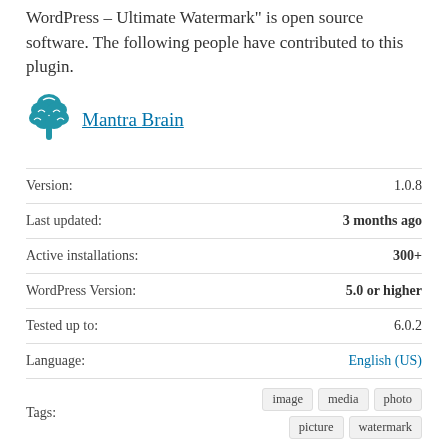WordPress – Ultimate Watermark" is open source software. The following people have contributed to this plugin.
[Figure (illustration): Blue brain icon representing Mantra Brain contributor avatar]
Mantra Brain
| Property | Value |
| --- | --- |
| Version: | 1.0.8 |
| Last updated: | 3 months ago |
| Active installations: | 300+ |
| WordPress Version: | 5.0 or higher |
| Tested up to: | 6.0.2 |
| Language: | English (US) |
| Tags: | image  media  photo  picture  watermark |